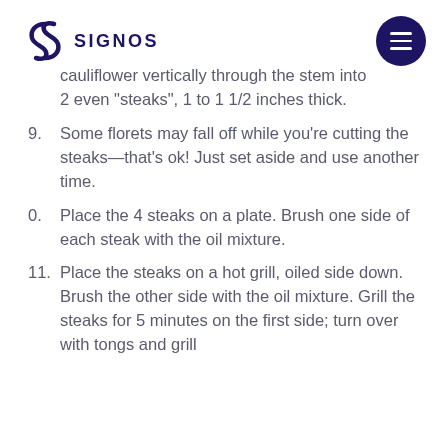SIGNOS
cauliflower vertically through the stem into 2 even "steaks", 1 to 1 1/2 inches thick.
9. Some florets may fall off while you're cutting the steaks—that's ok! Just set aside and use another time.
0. Place the 4 steaks on a plate. Brush one side of each steak with the oil mixture.
11. Place the steaks on a hot grill, oiled side down. Brush the other side with the oil mixture. Grill the steaks for 5 minutes on the first side; turn over with tongs and grill